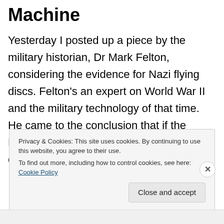Machine
Yesterday I posted up a piece by the military historian, Dr Mark Felton, considering the evidence for Nazi flying discs. Felton's an expert on World War II and the military technology of that time. He came to the conclusion that if the Nazis were experimenting with flying discs, then they were
Privacy & Cookies: This site uses cookies. By continuing to use this website, you agree to their use.
To find out more, including how to control cookies, see here: Cookie Policy
Close and accept